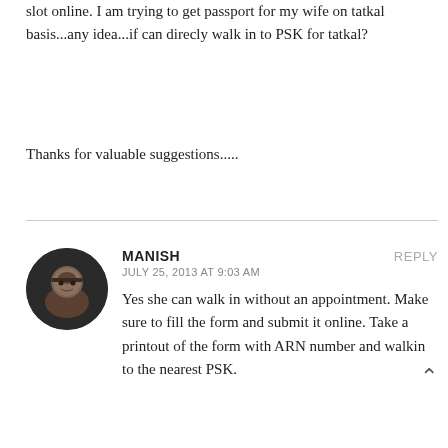slot online. I am trying to get passport for my wife on tatkal basis...any idea...if can direcly walk in to PSK for tatkal?
Thanks for valuable suggestions.....
MANISH
JULY 25, 2013 AT 9:03 AM
Yes she can walk in without an appointment. Make sure to fill the form and submit it online. Take a printout of the form with ARN number and walkin to the nearest PSK.